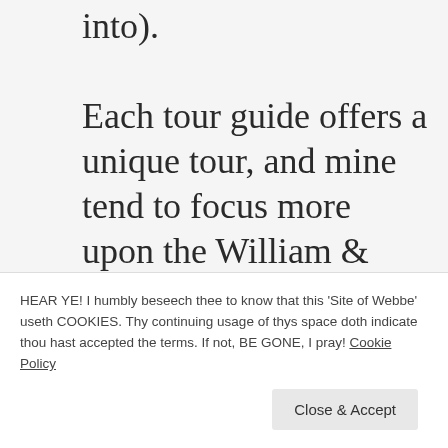into).

Each tour guide offers a unique tour, and mine tend to focus more upon the William & Mary additions, but include all the major changes to the gardens at Kensington
HEAR YE! I humbly beseech thee to know that this 'Site of Webbe' useth COOKIES. Thy continuing usage of thys space doth indicate thou hast accepted the terms. If not, BE GONE, I pray! Cookie Policy
day